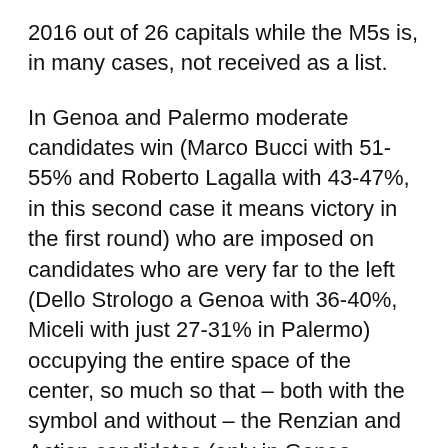2016 out of 26 capitals while the M5s is, in many cases, not received as a list.
In Genoa and Palermo moderate candidates win (Marco Bucci with 51-55% and Roberto Lagalla with 43-47%, in this second case it means victory in the first round) who are imposed on candidates who are very far to the left (Dello Strologo a Genoa with 36-40%, Miceli with just 27-31% in Palermo) occupying the entire space of the center, so much so that – both with the symbol and without – the Renzian and Action candidates (only in Genoa, however, in Palermo, for Action that gets a good result with the third placed, Ferrandelli, between 15 and 19%) contribute to the success of the rights. Two dry defeats, for the center left, just like that of Aquila with th